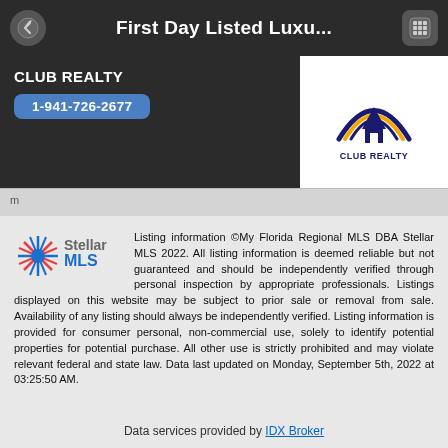First Day Listed Luxu...
CLUB REALTY
1-941-726-2677
[Figure (logo): Club Realty logo with house icon and rainbow arc, text CLUB REALTY below]
Listing information ©My Florida Regional MLS DBA Stellar MLS 2022. All listing information is deemed reliable but not guaranteed and should be independently verified through personal inspection by appropriate professionals. Listings displayed on this website may be subject to prior sale or removal from sale. Availability of any listing should always be independently verified. Listing information is provided for consumer personal, non-commercial use, solely to identify potential properties for potential purchase. All other use is strictly prohibited and may violate relevant federal and state law. Data last updated on Monday, September 5th, 2022 at 03:25:50 AM.
Data services provided by IDX Broker